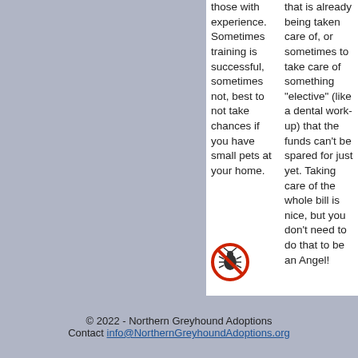those with experience. Sometimes training is successful, sometimes not, best to not take chances if you have small pets at your home.
does not at all care for children but it can happen. If you have children in your home younger than 12 this may not be the dog for you.
that is already being taken care of, or sometimes to take care of something "elective" (like a dental work-up) that the funds can't be spared for just yet. Taking care of the whole bill is nice, but you don't need to do that to be an Angel!
[Figure (illustration): Red circle with slash (no symbol) containing a small bug/flea icon]
- Not Vetted Yet - The dog has not been spayed/neutered yet, so it cannot be taken home just yet.
© 2022 - Northern Greyhound Adoptions
Contact info@NorthernGreyhoundAdoptions.org